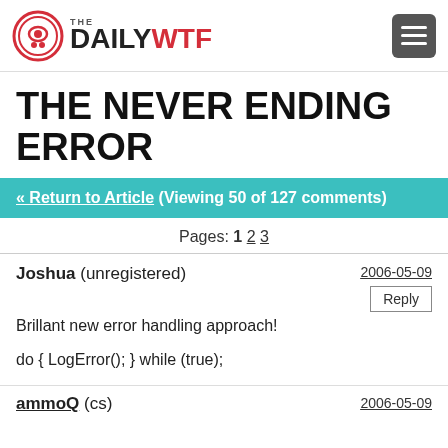THE DAILY WTF
THE NEVER ENDING ERROR
« Return to Article (Viewing 50 of 127 comments)
Pages: 1 2 3
Joshua (unregistered)
Brillant new error handling approach!

do { LogError(); } while (true);
2006-05-09
ammoQ (cs)
2006-05-09